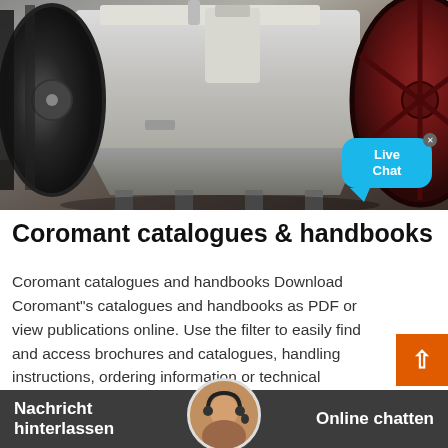[Figure (photo): Industrial machinery photo showing a large white crusher or mill machine with a black belt wheel on the left, a large dark red flywheel on the right, metal frame legs, and a cup-shaped component on top. Live Chat bubble overlay in bottom-right corner.]
Coromant catalogues & handbooks
Coromant catalogues and handbooks Download Coromant"s catalogues and handbooks as PDF or view publications online. Use the filter to easily find and access brochures and catalogues, handling instructions, ordering information or technical information such as the Metal Cutting Training Handbook... Group Locations < DanieliDanieli Centro Combustion India Pvt Ltd. 301 C, 3rd
Nachricht hinterlassen    Online chatten